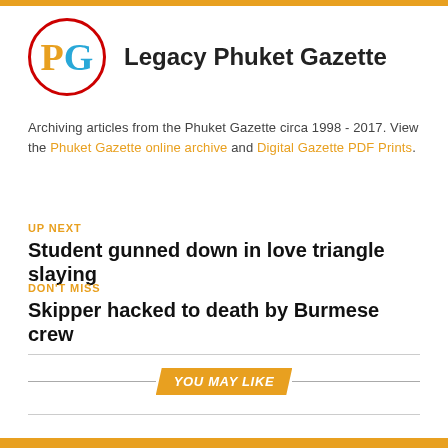[Figure (logo): Legacy Phuket Gazette logo: circular badge with red border, letters PG in gold and blue, with publication title 'Legacy Phuket Gazette' in bold]
Archiving articles from the Phuket Gazette circa 1998 - 2017. View the Phuket Gazette online archive and Digital Gazette PDF Prints.
UP NEXT
Student gunned down in love triangle slaying
DON'T MISS
Skipper hacked to death by Burmese crew
YOU MAY LIKE